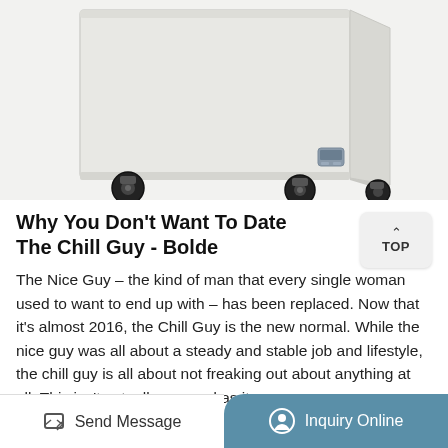[Figure (photo): A white chest freezer on black caster wheels, viewed from a slight angle showing the front and right side. A small grey digital lock/display is visible on the lower right side of the freezer body.]
Why You Don't Want To Date The Chill Guy - Bolde
The Nice Guy – the kind of man that every single woman used to want to end up with – has been replaced. Now that it's almost 2016, the Chill Guy is the new normal. While the nice guy was all about a steady and stable job and lifestyle, the chill guy is all about not freaking out about anything at all. This isn't actually as good as it ...
Send Message   Inquiry Online